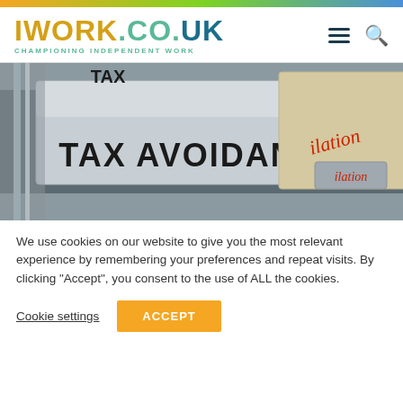[Figure (logo): iwork.co.uk logo with tagline CHAMPIONING INDEPENDENT WORK]
[Figure (photo): Close-up photograph of filing folders labeled TAX AVOIDANCE and another folder with cursive text]
We use cookies on our website to give you the most relevant experience by remembering your preferences and repeat visits. By clicking “Accept”, you consent to the use of ALL the cookies.
Cookie settings   ACCEPT